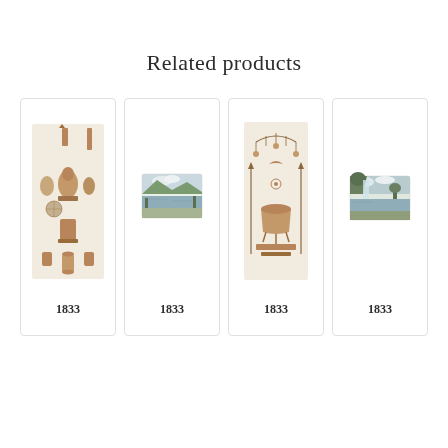Related products
[Figure (illustration): Antique print showing various artifacts and objects on a beige background, 1833]
1833
[Figure (illustration): Antique landscape print showing a lake or river scene with mountains, 1833]
1833
[Figure (illustration): Antique print showing various jewelry or ceremonial objects on a beige background, 1833]
1833
[Figure (illustration): Antique landscape print showing a waterfall or coastal scene, 1833]
1833